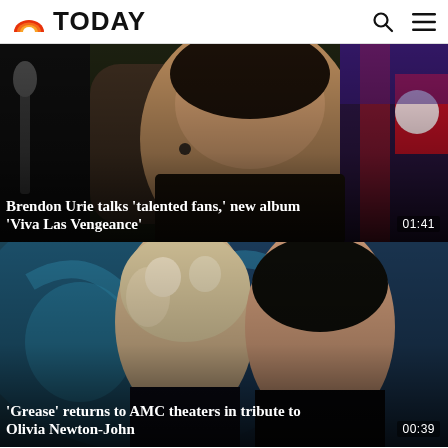TODAY
[Figure (screenshot): Video thumbnail of Brendon Urie performing on stage with earpiece, outdoor concert setting]
Brendon Urie talks 'talented fans,' new album 'Viva Las Vengeance'
01:41
[Figure (screenshot): Video thumbnail of Olivia Newton-John and John Travolta from Grease movie, posed together]
'Grease' returns to AMC theaters in tribute to Olivia Newton-John
00:39